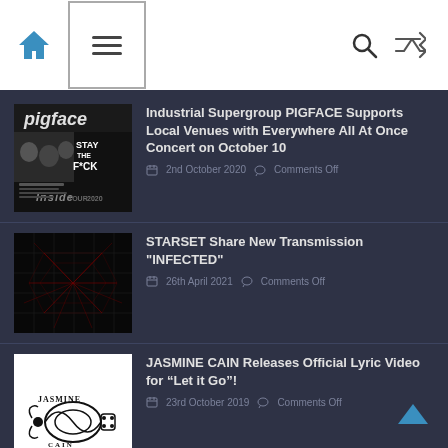Navigation header with home icon, menu icon, search icon, and shuffle icon
[Figure (screenshot): Pigface band promotional image with text STAY THE F*CK Inside TOUR 2020]
Industrial Supergroup PIGFACE Supports Local Venues with Everywhere All At Once Concert on October 10
2nd October 2020  Comments Off
[Figure (photo): Dark background with red grid/web pattern - STARSET album art for INFECTED]
STARSET Share New Transmission "INFECTED"
26th April 2021  Comments Off
[Figure (logo): Jasmine Cain band logo in black on white background]
JASMINE CAIN Releases Official Lyric Video for “Let it Go”!
23rd October 2019  Comments Off